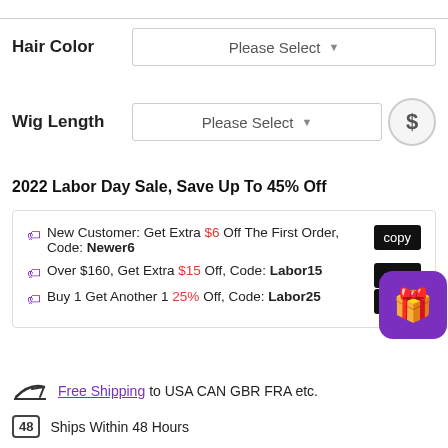Hair Color — Please Select
Wig Length — Please Select
2022 Labor Day Sale, Save Up To 45% Off
New Customer: Get Extra $6 Off The First Order, Code: Newer6 [copy]
Over $160, Get Extra $15 Off, Code: Labor15 [copy]
Buy 1 Get Another 1 25% Off, Code: Labor25 [copy]
Free Shipping to USA CAN GBR FRA etc.
Ships Within 48 Hours